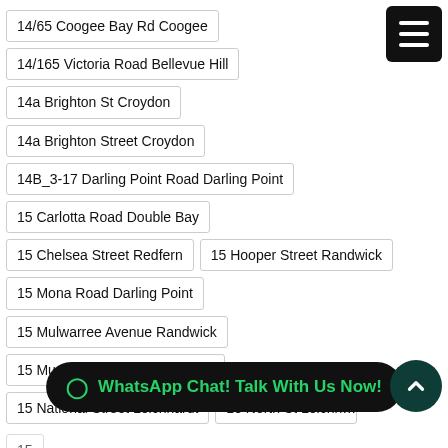14/65 Coogee Bay Rd Coogee
14/165 Victoria Road Bellevue Hill
14a Brighton St Croydon
14a Brighton Street Croydon
14B_3-17 Darling Point Road Darling Point
15 Carlotta Road Double Bay
15 Chelsea Street Redfern
15 Hooper Street Randwick
15 Mona Road Darling Point
15 Mulwarree Avenue Randwick
15 Murriverie Road North Bondi
15 National Street Leichhardt
15 North St Leichh…
15 Robert Street Sans Souci
15 Rosser St Rozelle